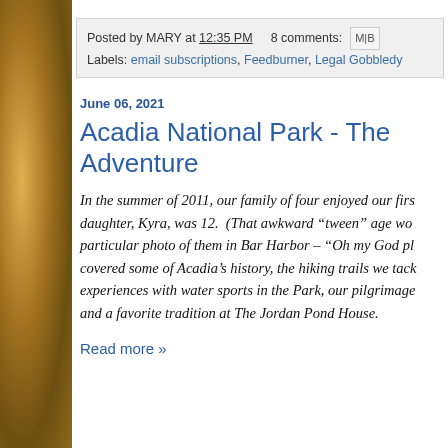Posted by MARY at 12:35 PM   8 comments:   M B
Labels: email subscriptions, Feedburner, Legal Gobbledy
June 06, 2021
Acadia National Park - The Adventure
In the summer of 2011, our family of four enjoyed our first... daughter, Kyra, was 12. (That awkward "tween" age wo... particular photo of them in Bar Harbor – "Oh my God pl... covered some of Acadia's history, the hiking trails we tack... experiences with water sports in the Park, our pilgrimage... and a favorite tradition at The Jordan Pond House.
Read more »